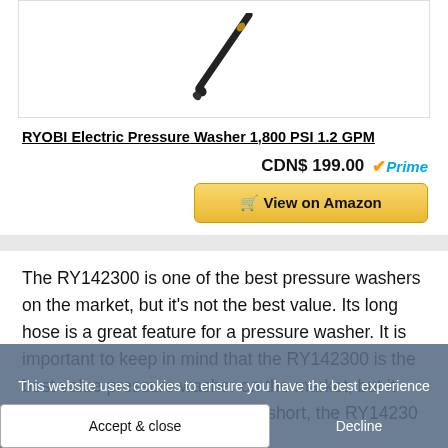[Figure (photo): Partial image of a RYOBI electric pressure washer wand/nozzle shown diagonally against white background, cropped at top]
RYOBI Electric Pressure Washer 1,800 PSI 1.2 GPM
CDN$ 199.00  Prime
View on Amazon
The RY142300 is one of the best pressure washers on the market, but it's not the best value. Its long hose is a great feature for a pressure washer. It is important to keep in mind that the RY142300 is the best value pressure washer on the market, but it and some other finer details. In short, the RY142300 is the best pressure
This website uses cookies to ensure you have the best experience
Accept & close
Decline